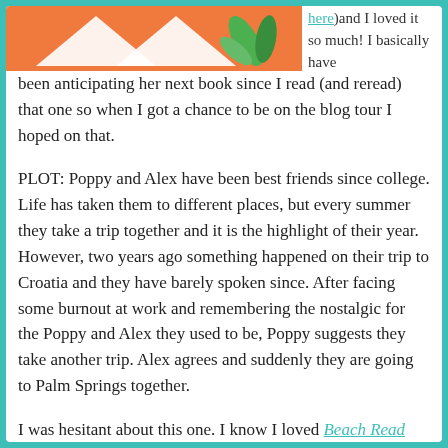[Figure (illustration): Orange background illustration with white tent/triangle shapes and green leaf/palm frond graphic on the left side of the page top]
here)and I loved it so much! I basically have been anticipating her next book since I read (and reread) that one so when I got a chance to be on the blog tour I hoped on that.
PLOT: Poppy and Alex have been best friends since college. Life has taken them to different places, but every summer they take a trip together and it is the highlight of their year. However, two years ago something happened on their trip to Croatia and they have barely spoken since. After facing some burnout at work and remembering the nostalgic for the Poppy and Alex they used to be, Poppy suggests they take another trip. Alex agrees and suddenly they are going to Palm Springs together.
I was hesitant about this one. I know I loved Beach Read...